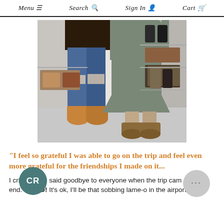Menu  ≡   Search 🔍   Sign In 👤   Cart 🛒
[Figure (photo): Two people standing in what appears to be a shoe store, one wearing ripped jeans and tan ankle boots, the other wearing an olive/grey dress and leopard print ankle boots. Shoe shelves visible in background.]
"I feel so grateful I was able to go on the trip and feel even more grateful for the friendships I made on it...
I cried when I said goodbye to everyone when the trip came to an end. CRIED! It's ok, I'll be that sobbing lame-o in the airport any